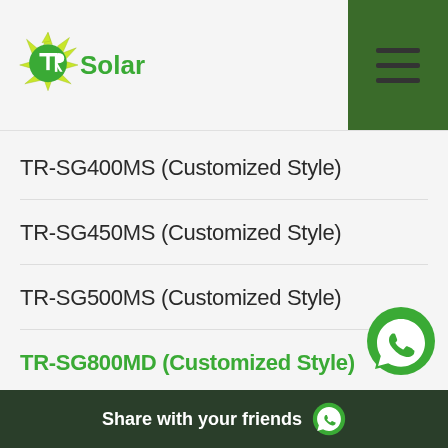[Figure (logo): TR Solar company logo with green sunburst icon and 'Solar' text in green]
TR-SG400MS  (Customized Style)
TR-SG450MS  (Customized Style)
TR-SG500MS  (Customized Style)
TR-SG800MD  (Customized Style)
TR-SG1000MD (Customized Style)
TR-SG1200MT  (Customized Style)
Share with your friends